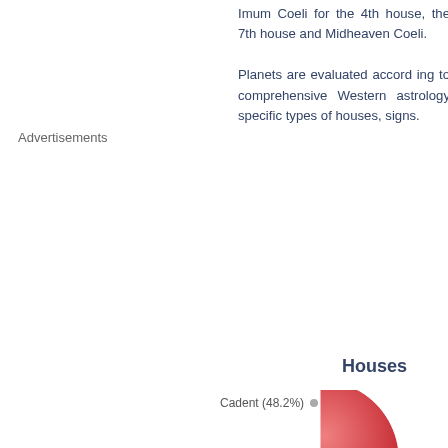Imum Coeli for the 4th house, the 7th house and Midheaven Coeli.
Planets are evaluated according to comprehensive Western astrology specific types of houses, signs.
Advertisements
Houses
[Figure (pie-chart): Partial pie chart showing Cadent (48.2%) slice in red/pink, partially visible at bottom right of page]
Cadent (48.2%)